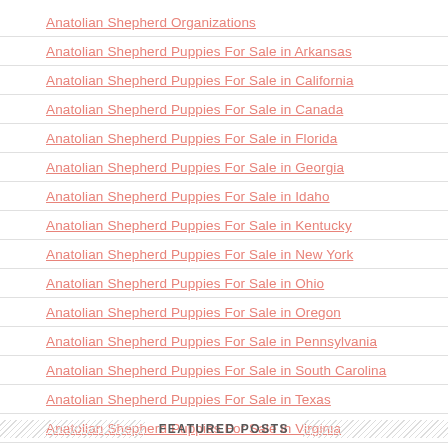Anatolian Shepherd Organizations
Anatolian Shepherd Puppies For Sale in Arkansas
Anatolian Shepherd Puppies For Sale in California
Anatolian Shepherd Puppies For Sale in Canada
Anatolian Shepherd Puppies For Sale in Florida
Anatolian Shepherd Puppies For Sale in Georgia
Anatolian Shepherd Puppies For Sale in Idaho
Anatolian Shepherd Puppies For Sale in Kentucky
Anatolian Shepherd Puppies For Sale in New York
Anatolian Shepherd Puppies For Sale in Ohio
Anatolian Shepherd Puppies For Sale in Oregon
Anatolian Shepherd Puppies For Sale in Pennsylvania
Anatolian Shepherd Puppies For Sale in South Carolina
Anatolian Shepherd Puppies For Sale in Texas
Anatolian Shepherd Puppies For Sale in Virginia
Anatolian Shepherd Puppies For Sale in Washington
FEATURED POSTS